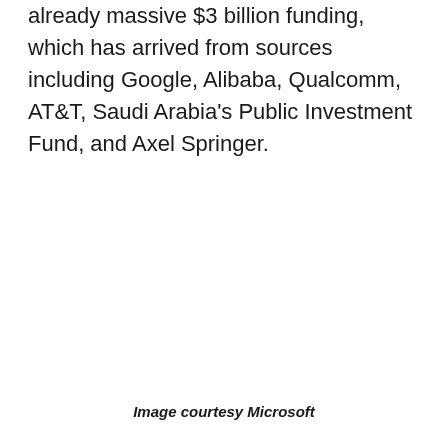already massive $3 billion funding, which has arrived from sources including Google, Alibaba, Qualcomm, AT&T, Saudi Arabia's Public Investment Fund, and Axel Springer.
Image courtesy Microsoft